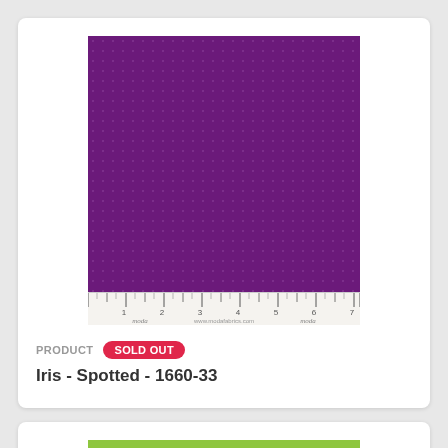[Figure (photo): Purple spotted fabric swatch (Iris - Spotted 1660-33) with a ruler strip at the bottom showing Moda branding]
PRODUCT SOLD OUT
Iris - Spotted - 1660-33
[Figure (photo): Lime green fabric swatch (partially visible, cropped at bottom of page)]